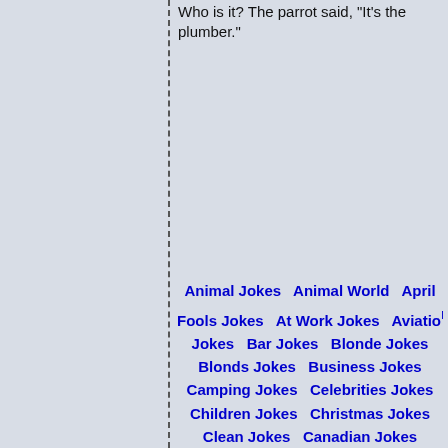Who is it?  The parrot said, "It's the plumber."
> Joke Categories:
Animal Jokes   Animal World   April Fools Jokes   At Work Jokes   Aviation Jokes   Bar Jokes   Blonde Jokes   Blonds Jokes   Business Jokes   Camping Jokes   Celebrities Jokes   Children Jokes   Christmas Jokes   Clean Jokes   Canadian Jokes